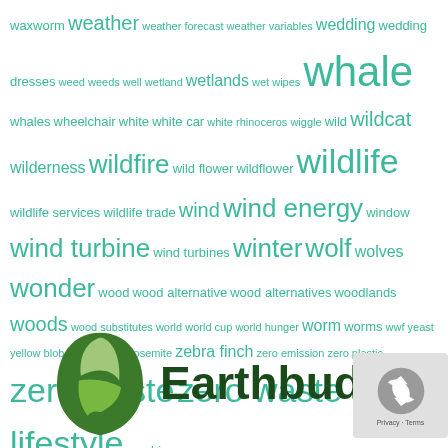[Figure (infographic): Word cloud of environment/nature related terms in teal/green color, with varying font sizes indicating frequency. Terms include waxworm, weather, wildlife, whale, wildfire, wind turbine, zero waste, zero waste lifestyle, zombie, etc.]
[Figure (logo): Earthbuddies logo with green leaf/teardrop shape icon and dark green bold text 'Earthbuddies']
[Figure (other): reCAPTCHA badge in bottom right corner showing Privacy and Terms links]